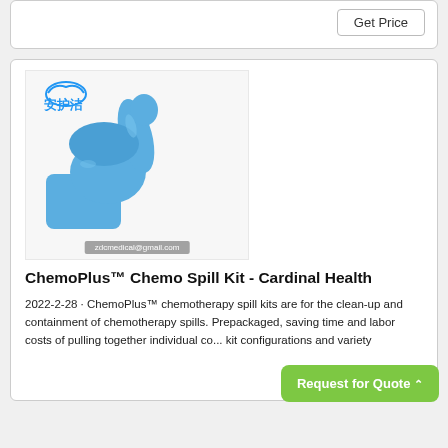Get Price
[Figure (photo): Blue nitrile glove with thumbs up gesture, with Chinese brand logo and watermark zdcmedical@gmail.com]
ChemoPlus™ Chemo Spill Kit - Cardinal Health
2022-2-28 · ChemoPlus™ chemotherapy spill kits are for the clean-up and containment of chemotherapy spills. Prepackaged, saving time and labor costs of pulling together individual co... kit configurations and variety
Request for Quote